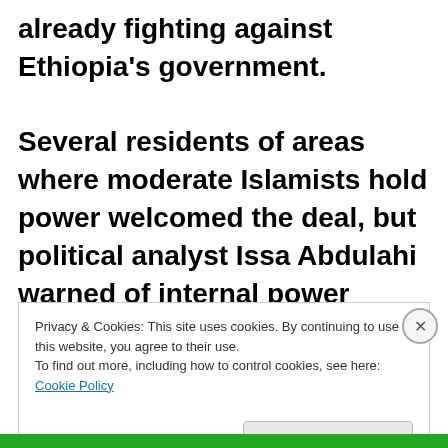already fighting against Ethiopia's government. Several residents of areas where moderate Islamists hold power welcomed the deal, but political analyst Issa Abdulahi warned of internal power
Privacy & Cookies: This site uses cookies. By continuing to use this website, you agree to their use. To find out more, including how to control cookies, see here: Cookie Policy
Close and accept